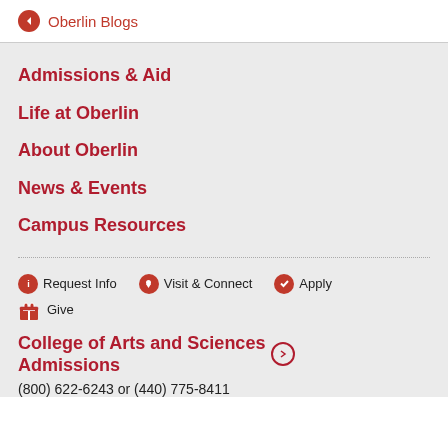← Oberlin Blogs
Admissions & Aid
Life at Oberlin
About Oberlin
News & Events
Campus Resources
Request Info   Visit & Connect   Apply   Give
College of Arts and Sciences Admissions →
(800) 622-6243 or (440) 775-8411